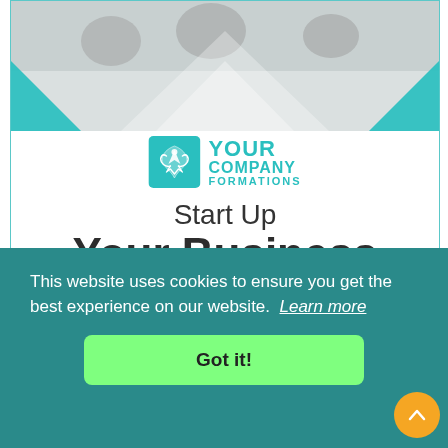[Figure (infographic): Your Company Formations advertisement banner. Top portion shows a photo of people in a business meeting (blurred/faded). Teal chevron decorative shapes overlay the photo corners. Center shows 'Your Company Formations' logo with a teal phoenix bird icon. Below the logo: 'Start Up Your Business Today!' in large mixed-weight typography. Dark text for 'Start Up Your Business' and teal for 'Today!'.]
This website uses cookies to ensure you get the best experience on our website.  Learn more
Got it!